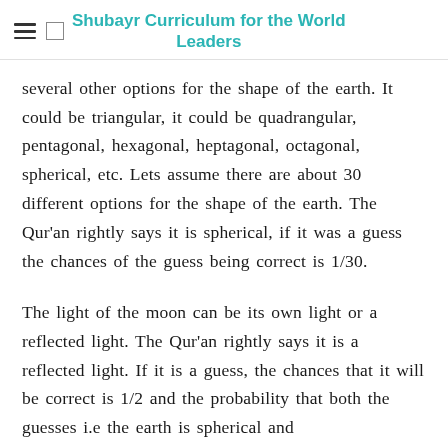Shubayr Curriculum for the World Leaders
several other options for the shape of the earth. It could be triangular, it could be quadrangular, pentagonal, hexagonal, heptagonal, octagonal, spherical, etc. Lets assume there are about 30 different options for the shape of the earth. The Qur'an rightly says it is spherical, if it was a guess the chances of the guess being correct is 1/30.
The light of the moon can be its own light or a reflected light. The Qur'an rightly says it is a reflected light. If it is a guess, the chances that it will be correct is 1/2 and the probability that both the guesses i.e the earth is spherical and